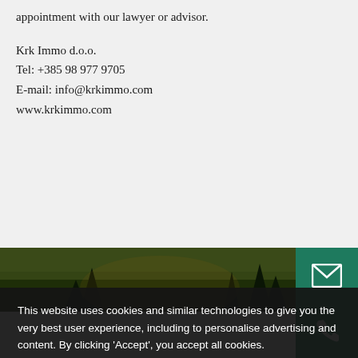appointment with our lawyer or advisor.
Krk Immo d.o.o.
Tel: +385 98 977 9705
E-mail: info@krkimmo.com
www.krkimmo.com
[Figure (screenshot): KrkImmo banner showing logo and 'FULL HOUSE by KrkImmo' text with landscape background]
[Figure (other): Green email button icon on right side]
[Figure (other): Green phone button icon on right side]
This website uses cookies and similar technologies to give you the very best user experience, including to personalise advertising and content. By clicking 'Accept', you accept all cookies.
MORE OPTIONS
I ACCEPT